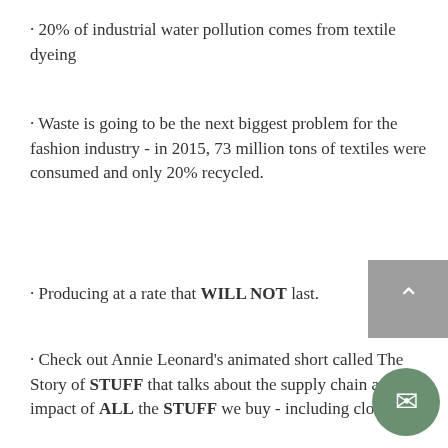· 20% of industrial water pollution comes from textile dyeing
· Waste is going to be the next biggest problem for the fashion industry - in 2015, 73 million tons of textiles were consumed and only 20% recycled.
· Producing at a rate that WILL NOT last.
· Check out Annie Leonard's animated short called The Story of STUFF that talks about the supply chain and impact of ALL the STUFF we buy - including clothing.